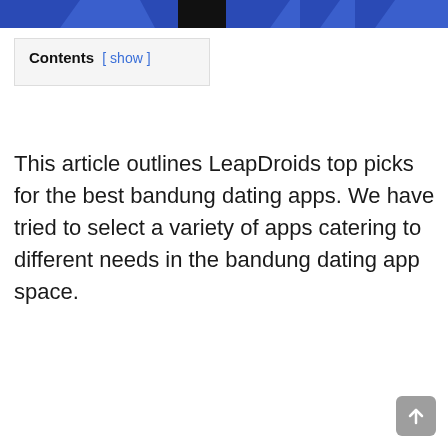[Figure (other): Website header banner with blue and black geometric shapes on a blue background]
Contents [ show ]
This article outlines LeapDroids top picks for the best bandung dating apps. We have tried to select a variety of apps catering to different needs in the bandung dating app space.